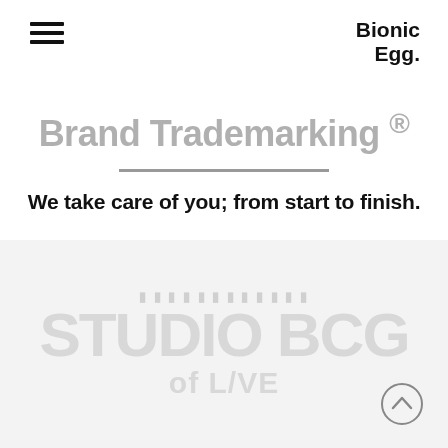[Figure (other): Hamburger menu icon — three horizontal lines stacked]
Bionic Egg.
Brand Trademarking ®
We take care of you; from start to finish.
[Figure (other): Large light watermark background image showing faded text/imagery in grey tones]
[Figure (other): Scroll-up arrow button circle icon at bottom right]